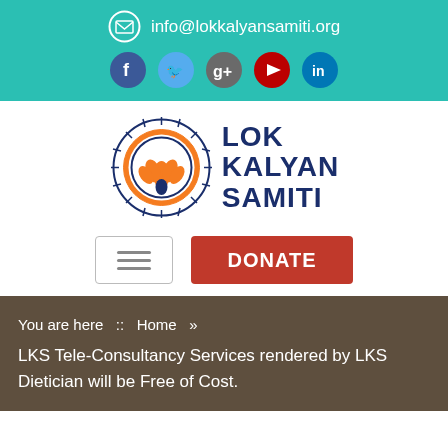info@lokkalyansamiti.org
[Figure (logo): Lok Kalyan Samiti logo with orange lotus flower in circular sunburst design]
DONATE
You are here :: Home »
LKS Tele-Consultancy Services rendered by LKS Dietician will be Free of Cost.